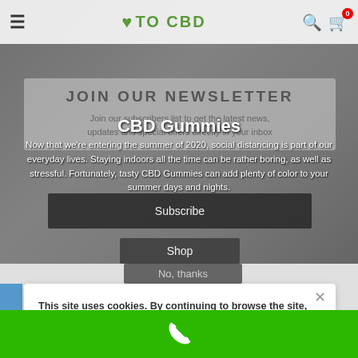[Figure (screenshot): Website header with hamburger menu, heart-TO CBD logo in green, search icon, and cart icon with 0 badge on white navbar]
JOIN OUR NEWSLETTER
CBD Gummies
Join our subscribers list to get the latest news, updates and special offers directly in your inbox
Now that we're entering the summer of 2020, social distancing is part of our everyday lives. Staying indoors all the time can be rather boring, as well as stressful. Fortunately, tasty CBD Gummies can add plenty of color to your summer days and nights.
Subscribe
Shop
No, thanks
This site uses cookies. By continuing to browse the site, you are agreeing to our use of cookies.